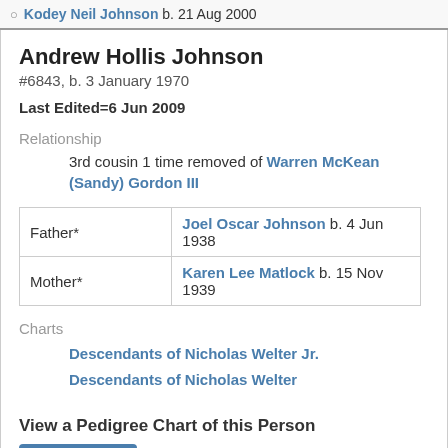Kodey Neil Johnson b. 21 Aug 2000
Andrew Hollis Johnson
#6843, b. 3 January 1970
Last Edited=6 Jun 2009
Relationship
3rd cousin 1 time removed of Warren McKean (Sandy) Gordon III
|  |  |
| --- | --- |
| Father* | Joel Oscar Johnson b. 4 Jun 1938 |
| Mother* | Karen Lee Matlock b. 15 Nov 1939 |
Charts
Descendants of Nicholas Welter Jr.
Descendants of Nicholas Welter
View a Pedigree Chart of this Person
Pedigree